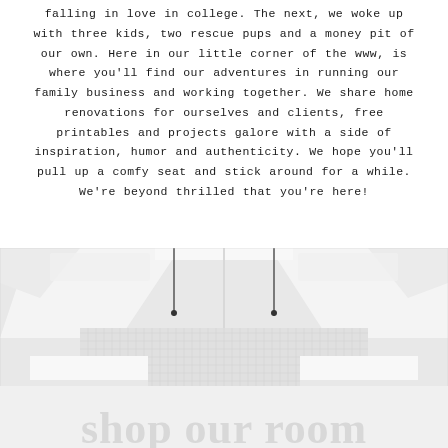falling in love in college. The next, we woke up with three kids, two rescue pups and a money pit of our own. Here in our little corner of the www, is where you'll find our adventures in running our family business and working together. We share home renovations for ourselves and clients, free printables and projects galore with a side of inspiration, humor and authenticity. We hope you'll pull up a comfy seat and stick around for a while. We're beyond thrilled that you're here!
[Figure (photo): Top-down view of a white minimalist bathroom with herringbone tile floor, two pendant lights, white vanity shelves, and a gray bath mat.]
shop our room